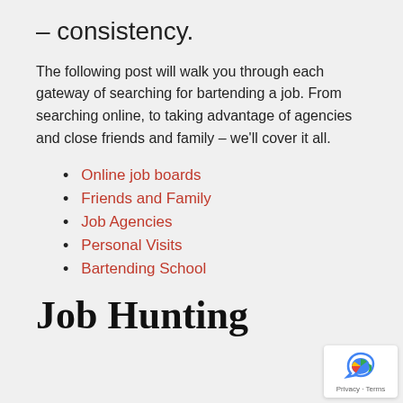– consistency.
The following post will walk you through each gateway of searching for bartending a job. From searching online, to taking advantage of agencies and close friends and family – we'll cover it all.
Online job boards
Friends and Family
Job Agencies
Personal Visits
Bartending School
Job Hunting